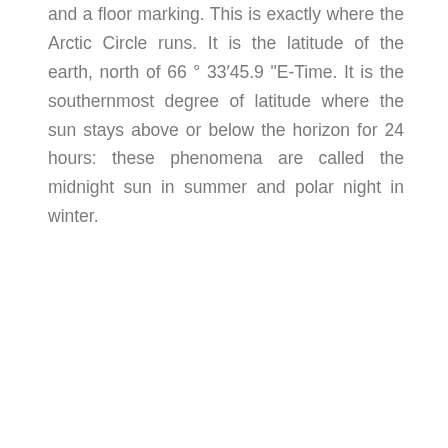and a floor marking. This is exactly where the Arctic Circle runs. It is the latitude of the earth, north of 66 ° 33′45.9 "E-Time. It is the southernmost degree of latitude where the sun stays above or below the horizon for 24 hours: these phenomena are called the midnight sun in summer and polar night in winter.